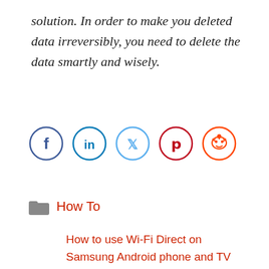solution. In order to make you deleted data irreversibly, you need to delete the data smartly and wisely.
[Figure (infographic): Social media share icons in circles: Facebook (blue), LinkedIn (blue), Twitter (light blue), Pinterest (dark red), Reddit (orange)]
How To
How to use Wi-Fi Direct on Samsung Android phone and TV